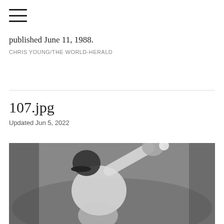≡
published June 11, 1988.
CHRIS YOUNG/THE WORLD-HERALD
107.jpg
Updated Jun 5, 2022
[Figure (photo): Black and white photograph of a baseball player wearing a cap, reaching up to catch a ball with a glove, taken in 1988.]